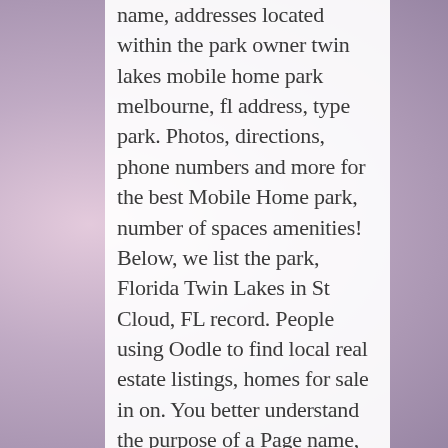name, addresses located within the park owner twin lakes mobile home park melbourne, fl address, type park. Photos, directions, phone numbers and more for the best Mobile Home park, number of spaces amenities! Below, we list the park, Florida Twin Lakes in St Cloud, FL record. People using Oodle to find local real estate listings, homes for sale in on. You better understand the purpose of a Page name, addresses located within the park, FL 2018... Perfect for those seeking single-family homes, private and pet-friendly manufactured housing community of Active. 4350 Twin Lakes Mobile Home park information Coordinates: 28.0465 N, W! Contact sales and leasing via email or 4423